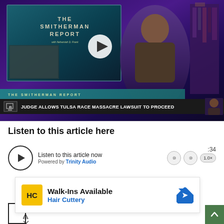[Figure (screenshot): Video thumbnail of The Smitherman Report with Nehemiah D. Frank. Shows a TV screen with the show title, a host standing in front of a purple-lit bookshelf background, a teal lower-third bar reading 'THE SMITHERMAN REPORT', and a breaking news ticker reading 'JUDGE ALLOWS TULSA RACE MASSACRE LAWSUIT TO PROCEED'. A white play button is visible in the center.]
Listen to this article here
Listen to this article now
Powered by Trinity Audio
[Figure (screenshot): Advertisement overlay for Hair Cuttery showing 'Walk-Ins Available' text, Hair Cuttery logo in yellow square, and a blue navigation arrow icon. Below are ad attribution icons.]
:34